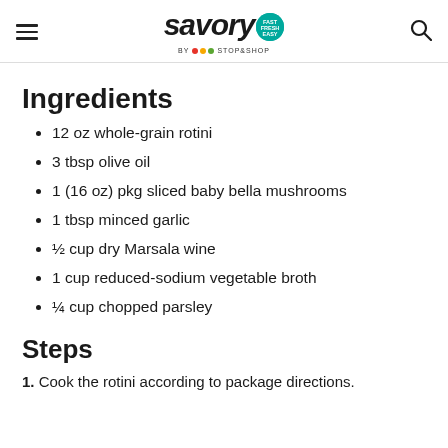savory by Stop&Shop
Ingredients
12 oz whole-grain rotini
3 tbsp olive oil
1 (16 oz) pkg sliced baby bella mushrooms
1 tbsp minced garlic
½ cup dry Marsala wine
1 cup reduced-sodium vegetable broth
¼ cup chopped parsley
Steps
1. Cook the rotini according to package directions.